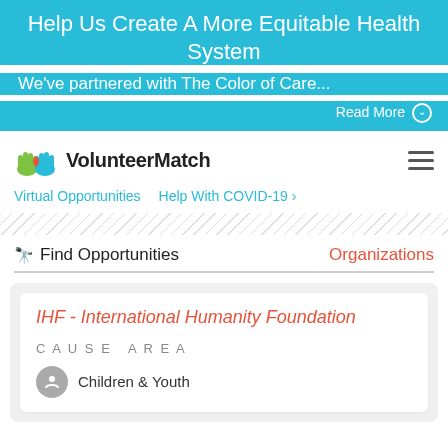Help Us Create A More Equitable Health System
We've partnered with The Color of Care...
Read More
[Figure (logo): VolunteerMatch logo with green and blue hands and a red heart]
VolunteerMatch
Virtual Opportunities
Help With COVID-19 ›
Find Opportunities
Organizations
IHF - International Humanity Foundation
Cause Area
Children & Youth